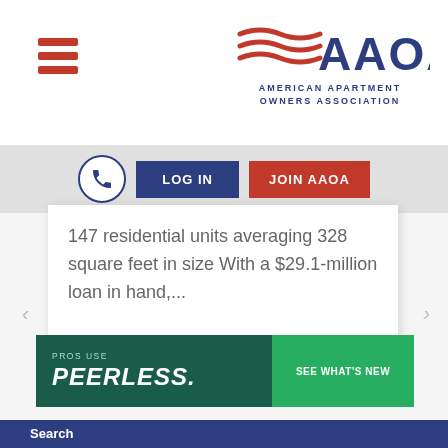[Figure (logo): AAOA - American Apartment Owners Association logo with red wave graphic and blue text]
[Figure (infographic): Hamburger menu icon with three red horizontal bars]
[Figure (infographic): Navigation bar with phone icon circle, LOG IN blue button, JOIN AAOA red button]
147 residential units averaging 328 square feet in size With a $29.1-million loan in hand,...
[Figure (infographic): Peerless ad banner: PROS USE PEERLESS. SEE WHAT'S NEW]
Search